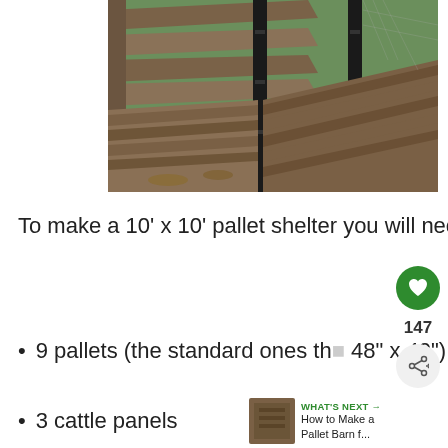[Figure (photo): Wooden pallets arranged as a shelter frame, connected with black metal posts, on green grass outdoors.]
To make a 10' x 10' pallet shelter you will need:
9 pallets (the standard ones that are 48" x 40")
3 cattle panels